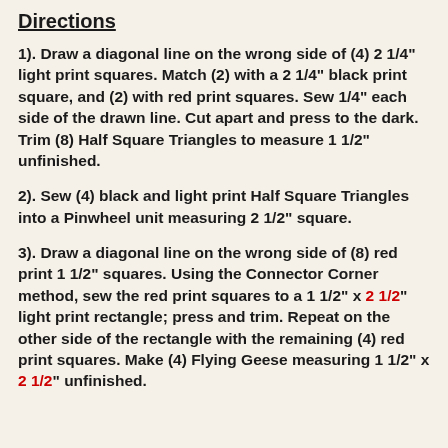Directions
1).  Draw a diagonal line on the wrong side of (4) 2 1/4" light print squares.  Match (2) with a 2 1/4" black print square, and (2) with red print squares.  Sew 1/4" each side of the drawn line.  Cut apart and press to the dark.  Trim (8) Half Square Triangles to measure 1 1/2" unfinished.
2).  Sew (4) black and light print Half Square Triangles into a Pinwheel unit measuring 2 1/2" square.
3).  Draw a diagonal line on the wrong side of (8) red print 1 1/2" squares.  Using the Connector Corner method, sew the red print squares to a 1 1/2" x 2 1/2" light print rectangle; press and trim.  Repeat on the other side of the rectangle with the remaining (4) red print squares.  Make (4) Flying Geese measuring 1 1/2" x 2 1/2" unfinished.